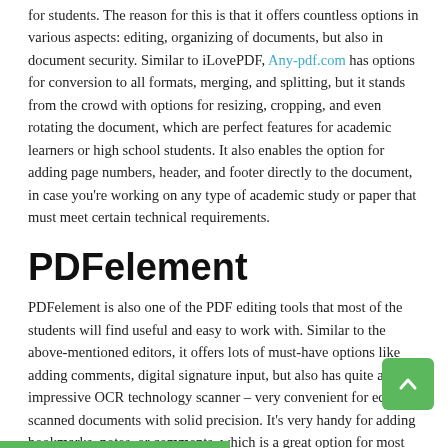for students. The reason for this is that it offers countless options in various aspects: editing, organizing of documents, but also in document security. Similar to iLovePDF, Any-pdf.com has options for conversion to all formats, merging, and splitting, but it stands from the crowd with options for resizing, cropping, and even rotating the document, which are perfect features for academic learners or high school students. It also enables the option for adding page numbers, header, and footer directly to the document, in case you're working on any type of academic study or paper that must meet certain technical requirements.
PDFelement
PDFelement is also one of the PDF editing tools that most of the students will find useful and easy to work with. Similar to the above-mentioned editors, it offers lots of must-have options like adding comments, digital signature input, but also has quite an impressive OCR technology scanner – very convenient for editing scanned documents with solid precision. It's very handy for adding bookmarks, notes, or comments, which is a great option for most